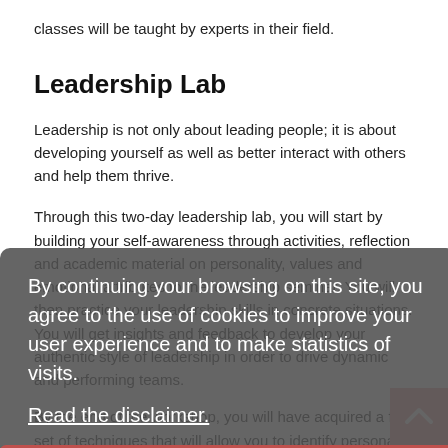classes will be taught by experts in their field.
Leadership Lab
Leadership is not only about leading people; it is about developing yourself as well as better interact with others and help them thrive.
Through this two-day leadership lab, you will start by building your self-awareness through activities, reflection and academic material on personality, values and emotional attributes to the leadership seminar. You will then practice your leadership skills in concrete situations. You will get insights and feedback to develop your authentic style of leadership in order to drive dynamic and performing teams.
By the end of the workshop, you will have acquired a full set of techniques that will allow you to identify personality
By continuing your browsing on this site, you agree to the use of cookies to improve your user experience and to make statistics of visits.
Read the disclaimer.
OK